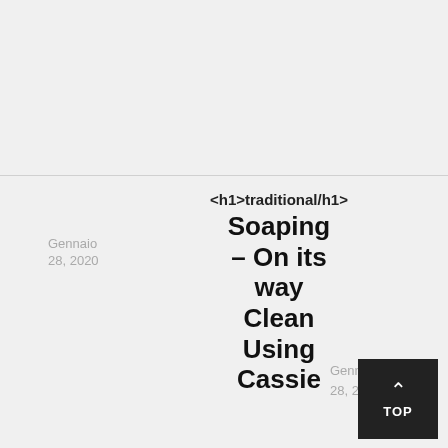[Figure (other): Empty light gray top section above a dividing line]
<h1>traditional/h1>
Soaping – On its way Clean Using Cassie
Gennaio 28, 2020
Gennaio 28, 2020